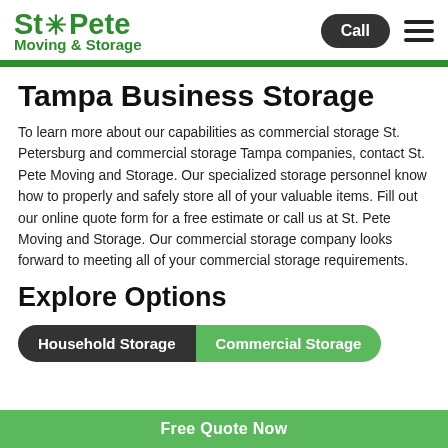[Figure (logo): St. Pete Moving & Storage logo with green palm tree icon and green text]
Call
Tampa Business Storage
To learn more about our capabilities as commercial storage St. Petersburg and commercial storage Tampa companies, contact St. Pete Moving and Storage.  Our specialized storage personnel know how to properly and safely store all of your valuable items.  Fill out our online quote form for a free estimate or call us at St. Pete Moving and Storage.  Our commercial storage company looks forward to meeting all of your commercial storage requirements.
Explore Options
Household Storage
Commercial Storage
Free Quote Now